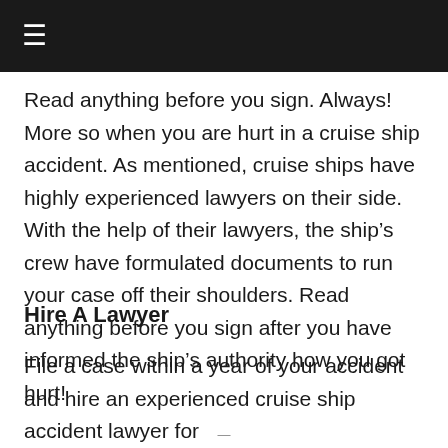≡
Read anything before you sign. Always! More so when you are hurt in a cruise ship accident. As mentioned, cruise ships have highly experienced lawyers on their side. With the help of their lawyers, the ship's crew have formulated documents to run your case off their shoulders. Read anything before you sign after you have informed the ship's authority how you got hurt!
Hire A Lawyer
File a case within a year of your accident and hire an experienced cruise ship accident lawyer for